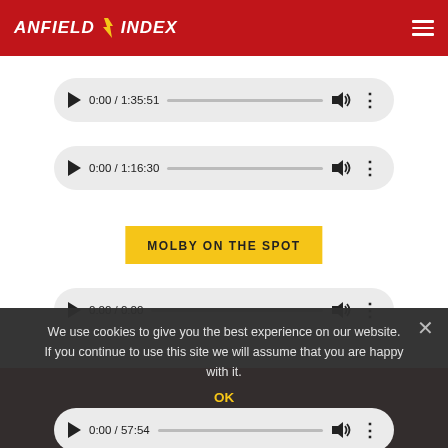ANFIELD INDEX
[Figure (other): Audio player pill showing 0:00 / 1:35:51 with play button, progress bar, volume icon, and options dots]
[Figure (other): Audio player pill showing 0:00 / 1:16:30 with play button, progress bar, volume icon, and options dots]
MOLBY ON THE SPOT
We use cookies to give you the best experience on our website. If you continue to use this site we will assume that you are happy with it.
OK
[Figure (other): Audio player pill showing 0:00 / 0:00 with play button, progress bar, volume icon, and options dots]
[Figure (other): Partial audio player pill showing 0:00 / 57:54 at bottom of page]